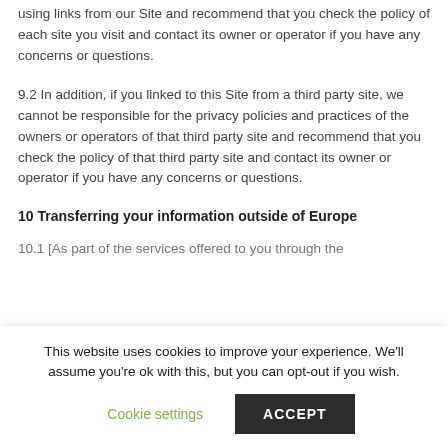using links from our Site and recommend that you check the policy of each site you visit and contact its owner or operator if you have any concerns or questions.
9.2 In addition, if you linked to this Site from a third party site, we cannot be responsible for the privacy policies and practices of the owners or operators of that third party site and recommend that you check the policy of that third party site and contact its owner or operator if you have any concerns or questions.
10 Transferring your information outside of Europe
10.1 [As part of the services offered to you through the
This website uses cookies to improve your experience. We'll assume you're ok with this, but you can opt-out if you wish.